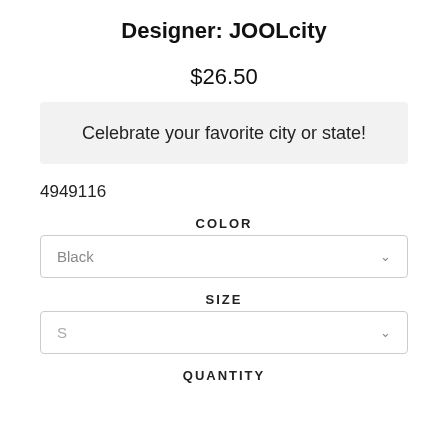Designer: JOOLcity
$26.50
Celebrate your favorite city or state!
4949116
COLOR
Black
SIZE
S
QUANTITY